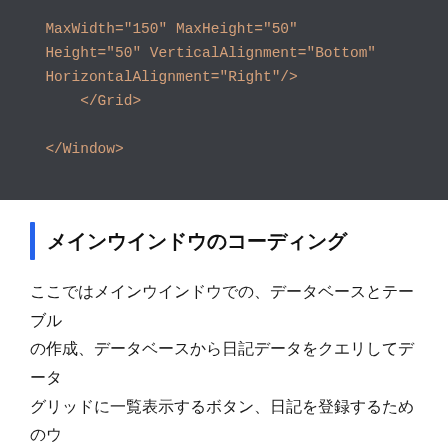[Figure (screenshot): Code block on dark background (#3a3d42) showing XML snippet: MaxWidth="150" MaxHeight="50" Height="50" VerticalAlignment="Bottom" HorizontalAlignment="Right"/> </Grid> </Window>]
メインウインドウのコーディング
ここではメインウインドウでの、データベースとテーブルの作成、データベースから日記データをクエリしてデータグリッドに一覧表示するボタン、日記を登録するためのウインドウを呼び出すボタンをコーディングします。
SQLiteのデータベースとテーブルスキーマを作成するコードを記述